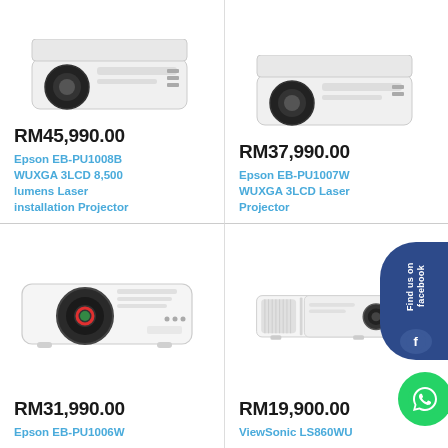[Figure (photo): Epson EB-PU1008B projector product image, white background, top portion visible]
RM45,990.00
Epson EB-PU1008B WUXGA 3LCD 8,500 lumens Laser installation Projector
[Figure (photo): Epson EB-PU1007W projector product image, white background, top portion visible]
RM37,990.00
Epson EB-PU1007W WUXGA 3LCD Laser Projector
[Figure (photo): Epson EB-PU1006W projector product image, white projector body with lens visible]
RM31,990.00
Epson EB-PU1006W
[Figure (photo): ViewSonic LS860WU projector product image, white projector body side view with Facebook and WhatsApp social badges overlaid]
RM19,900.00
ViewSonic LS860WU